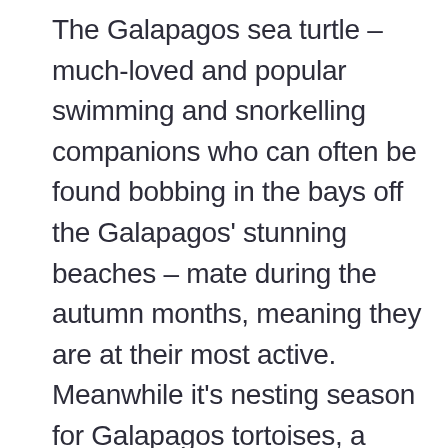The Galapagos sea turtle – much-loved and popular swimming and snorkelling companions who can often be found bobbing in the bays off the Galapagos' stunning beaches – mate during the autumn months, meaning they are at their most active. Meanwhile it's nesting season for Galapagos tortoises, a truly remarkable sight for wildlife enthusiasts. These prehistoric giants thrive in the archipelago, famously living to over 100 years old. In the fall they lay their eggs, guarding over them until the next generation is ready to hatch a few